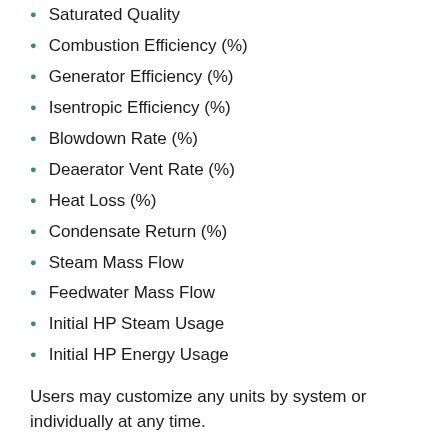Saturated Quality
Combustion Efficiency (%)
Generator Efficiency (%)
Isentropic Efficiency (%)
Blowdown Rate (%)
Deaerator Vent Rate (%)
Heat Loss (%)
Condensate Return (%)
Steam Mass Flow
Feedwater Mass Flow
Initial HP Steam Usage
Initial HP Energy Usage
Users may customize any units by system or individually at any time.
OUTPUTS